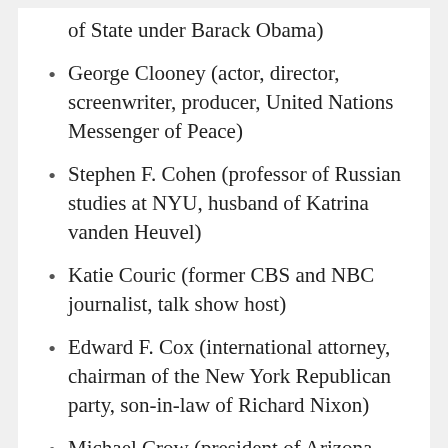of State under Barack Obama)
George Clooney (actor, director, screenwriter, producer, United Nations Messenger of Peace)
Stephen F. Cohen (professor of Russian studies at NYU, husband of Katrina vanden Heuvel)
Katie Couric (former CBS and NBC journalist, talk show host)
Edward F. Cox (international attorney, chairman of the New York Republican party, son-in-law of Richard Nixon)
Michael Crow (president of Arizona State University)
Mario Cuomo (Democratic politician, 52nd Governor of New York)
William M. Daley (24th White House chief of